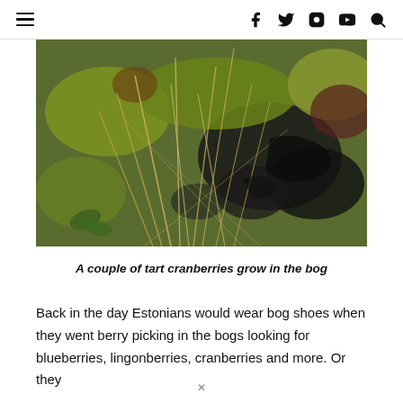≡  [Facebook] [Twitter] [Instagram] [YouTube] [Search]
[Figure (photo): Close-up photograph of bog vegetation: dried grass stalks, green and dark-reddish mosses, and dark wet peat soil. A couple of small cranberries are visible among the bog plants.]
A couple of tart cranberries grow in the bog
Back in the day Estonians would wear bog shoes when they went berry picking in the bogs looking for blueberries, lingonberries, cranberries and more. Or they